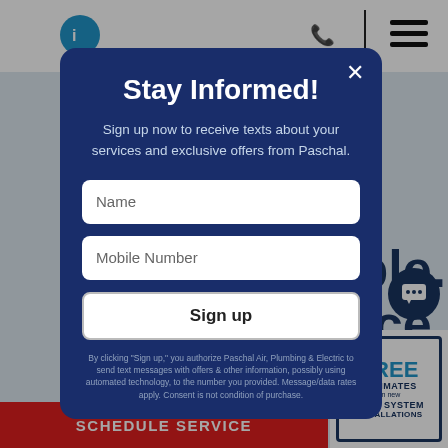[Figure (screenshot): Website navigation bar with logo, phone icon, divider, and hamburger menu on a white background]
[Figure (screenshot): Modal popup dialog on a website with dark navy blue background. Contains 'Stay Informed!' heading, description text, Name input field, Mobile Number input field, Sign up button, and legal footnote text.]
Stay Informed!
Sign up now to receive texts about your services and exclusive offers from Paschal.
Name
Mobile Number
Sign up
By clicking "Sign up," you authorize Paschal Air, Plumbing & Electric to send text messages with offers & other information, possibly using automated technology, to the number you provided. Message/data rates apply. Consent is not condition of purchase.
eople.
ervice.
on every single exceptional e & beyond.
SCHEDULE SERVICE
[Figure (logo): FREE ESTIMATES on new HVAC SYSTEM INSTALLATIONS badge/seal]